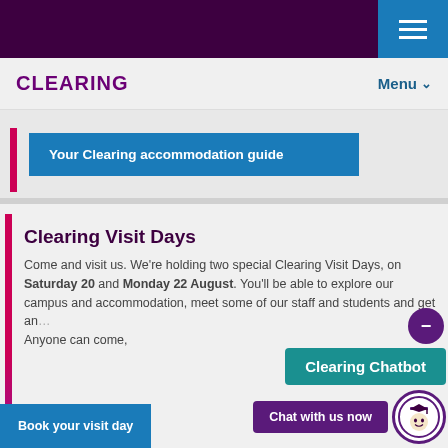CLEARING | Menu
Your Clearing accommodation guide
Clearing Visit Days
Come and visit us. We're holding two special Clearing Visit Days, on Saturday 20 and Monday 22 August. You'll be able to explore our campus and accommodation, meet some of our staff and students and get an... Anyone can come,
Book your visit day
Clearing Chatbot
Chat with us now